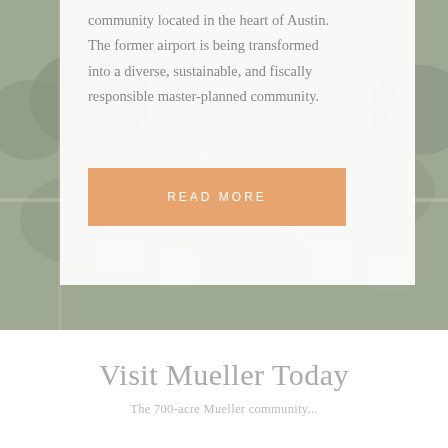[Figure (photo): Aerial photograph of a residential neighborhood with trees and streets, faded/muted tones serving as background]
community located in the heart of Austin. The former airport is being transformed into a diverse, sustainable, and fiscally responsible master-planned community.
READ MORE
Visit Mueller Today
The 700-acre Mueller community...